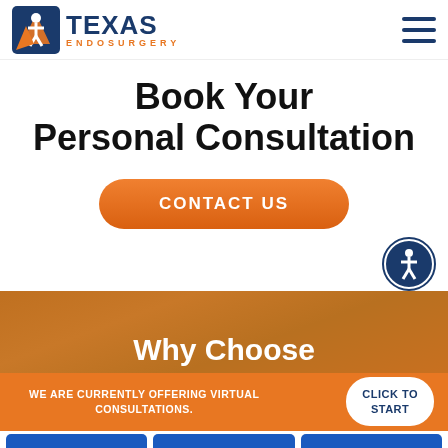[Figure (logo): Texas Endosurgery logo with orange star/person icon and blue text]
Book Your Personal Consultation
CONTACT US
[Figure (illustration): Accessibility icon - blue circle with white wheelchair person symbol]
Why Choose
WE ARE CURRENTLY OFFERING VIRTUAL CONSULTATIONS.
CLICK TO START
PHOTOS
CALL
EMAIL